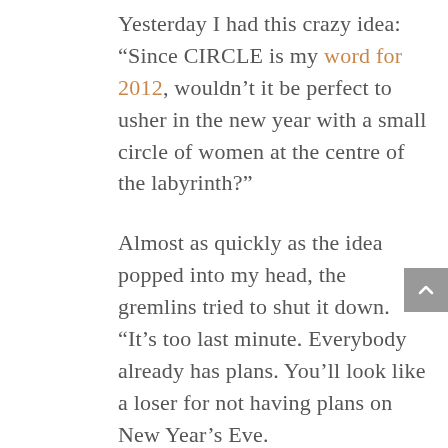Yesterday I had this crazy idea: “Since CIRCLE is my word for 2012, wouldn’t it be perfect to usher in the new year with a small circle of women at the centre of the labyrinth?”

Almost as quickly as the idea popped into my head, the gremlins tried to shut it down. “It’s too last minute. Everybody already has plans. You’ll look like a loser for not having plans on New Year’s Eve.